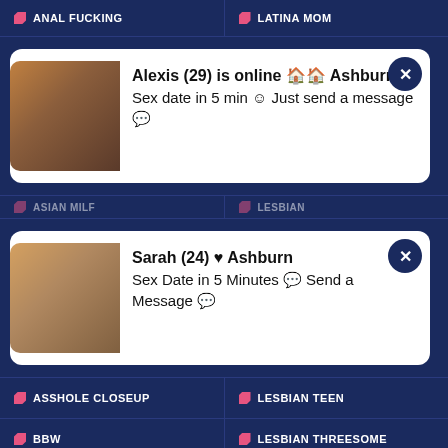ANAL FUCKING
LATINA MOM
[Figure (photo): Popup notification card with photo: Alexis (29) is online Ashburn - Sex date in 5 min Just send a message]
ASIAN MILF
LESBIAN
[Figure (photo): Popup notification card with photo: Sarah (24) Ashburn - Sex Date in 5 Minutes Send a Message]
ASSHOLE CLOSEUP
LESBIAN TEEN
BBW
LESBIAN THREESOME
BDSM
LESBIANS
BABE
LESBIANS MILF
BBC
LEZ MILF